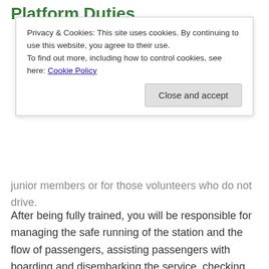Platform Duties
Privacy & Cookies: This site uses cookies. By continuing to use this website, you agree to their use.
To find out more, including how to control cookies, see here: Cookie Policy
Close and accept
junior members or for those volunteers who do not drive.
After being fully trained, you will be responsible for managing the safe running of the station and the flow of passengers, assisting passengers with boarding and disembarking the service, checking tickets and dispatching trains. A responsible volunteer will need to be confident, polite and be able to deal with the general public of all ages, face-to-face.